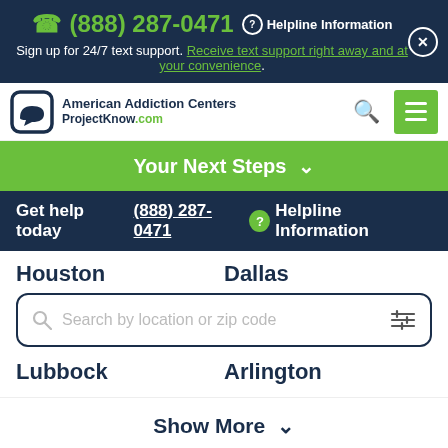(888) 287-0471  Helpline Information
Sign up for 24/7 text support. Receive text support right away and at your convenience.
[Figure (logo): American Addiction Centers / ProjectKnow.com logo with speech bubble icon]
Your Next Steps ∨
Get help today (888) 287-0471  Helpline Information
Houston   Dallas
Search by location or zip code
Lubbock   Arlington
Show More ∨
Your Next Steps ∧